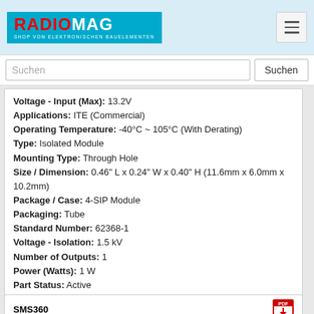RADIOMAG SHOP VON ELEKTRONISCHEN BAUELEMENTEN
Suchen
Voltage - Input (Max): 13.2V
Applications: ITE (Commercial)
Operating Temperature: -40°C ~ 105°C (With Derating)
Type: Isolated Module
Mounting Type: Through Hole
Size / Dimension: 0.46" L x 0.24" W x 0.40" H (11.6mm x 6.0mm x 10.2mm)
Package / Case: 4-SIP Module
Packaging: Tube
Standard Number: 62368-1
Voltage - Isolation: 1.5 kV
Number of Outputs: 1
Power (Watts): 1 W
Part Status: Active
Voltage - Output 1: 15V
auf Bestellung 6 Stücke 🚚
Lieferzeit 21-28 Tag (e)
4+  8.53 EUR
5+  8.45 EUR
kaufen
SMS360